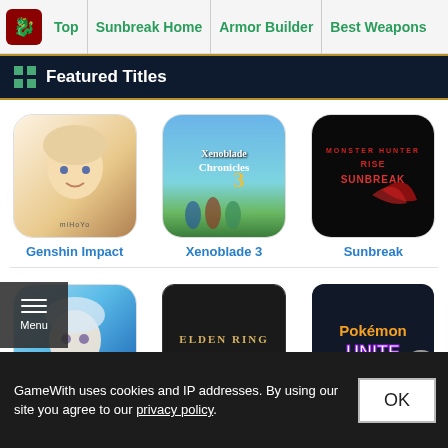Top | Sunbreak Home | Armor Builder | Best Weapons
Featured Titles
[Figure (screenshot): Genshin Impact game icon - anime girl character with miHoYo branding]
Genshin Impact
[Figure (screenshot): Xenoblade Chronicles 3 game icon]
Xenoblade 3
[Figure (screenshot): Monster Hunter Rise Sunbreak game logo]
Sunbreak
[Figure (screenshot): Tower of Fantasy (ToF) game icon - anime girl character]
ToF
[Figure (screenshot): Elden Ring game icon - black with gold text]
Elden
[Figure (screenshot): Pokemon Unite game icon]
[Figure (screenshot): Advertisement overlay with tech products]
GameWith uses cookies and IP addresses. By using our site you agree to our privacy policy.